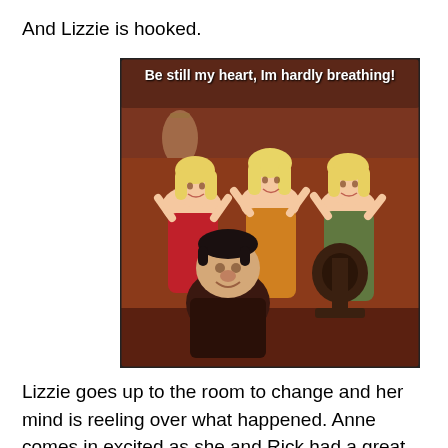And Lizzie is hooked.
[Figure (illustration): Disney cartoon meme showing three blonde women in colorful dresses (red, orange, green) with a stout dark-haired man in front, with white text overlay reading 'Be still my heart, Im hardly breathing!']
Lizzie goes up to the room to change and her mind is reeling over what happened. Anne comes in excited as she and Rick had a great time as well.
That night at dinner Rick is acting weird again and is all